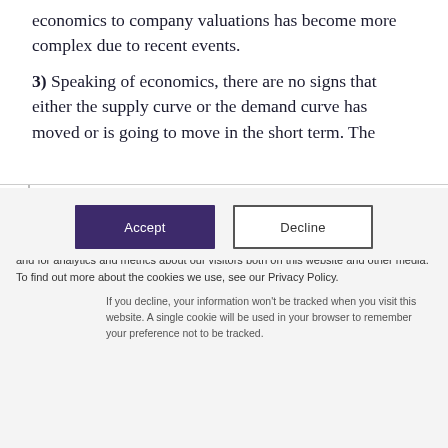economics to company valuations has become more complex due to recent events.
3) Speaking of economics, there are no signs that either the supply curve or the demand curve has moved or is going to move in the short term. The
This website stores cookies on your computer. These cookies are used to collect information about how you interact with our website and allow us to remember you. We use this information in order to improve and customize your browsing experience and for analytics and metrics about our visitors both on this website and other media. To find out more about the cookies we use, see our Privacy Policy.
If you decline, your information won't be tracked when you visit this website. A single cookie will be used in your browser to remember your preference not to be tracked.